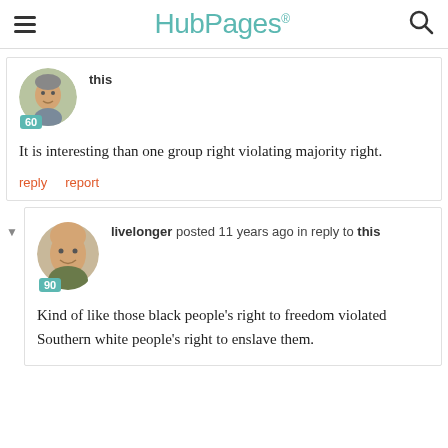HubPages
this
It is interesting than one group right violating majority right.
reply   report
livelonger posted 11 years ago in reply to this
Kind of like those black people's right to freedom violated Southern white people's right to enslave them.